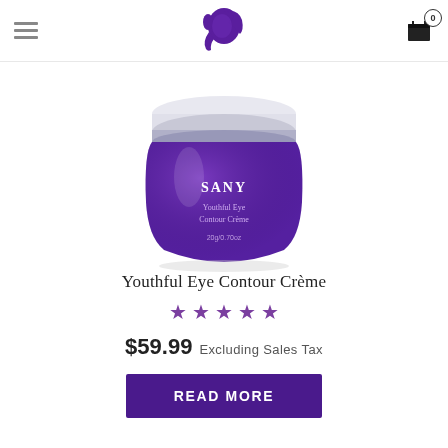[Figure (logo): SANY brand logo: purple elephant/woman silhouette]
[Figure (photo): SANY Youthful Eye Contour Crème product jar — purple glass jar with silver lid, labeled 'SANY Youthful Eye Contour Crème 20g/0.70oz']
Youthful Eye Contour Crème
★ ★ ★ ★ ★
$59.99 Excluding Sales Tax
READ MORE